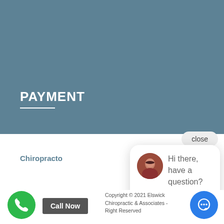PAYMENT
Chiropracto
[Figure (screenshot): Chat popup with avatar photo of a woman in red, text 'Hi there, have a question? Text us here.' with close button and blue chat bubble icon]
Copyright © 2021 Elswick Chiropractic & Associates - Right Reserved